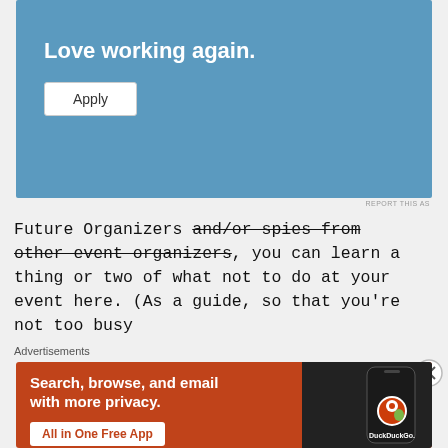[Figure (other): Blue advertisement banner with white bold text 'Love working again.' and a white 'Apply' button]
REPORT THIS AS
Future Organizers and/or spies from other event organizers, you can learn a thing or two of what not to do at your event here. (As a guide, so that you're not too busy
Advertisements
[Figure (other): Orange DuckDuckGo advertisement: 'Search, browse, and email with more privacy. All in One Free App' with DuckDuckGo logo on dark phone background]